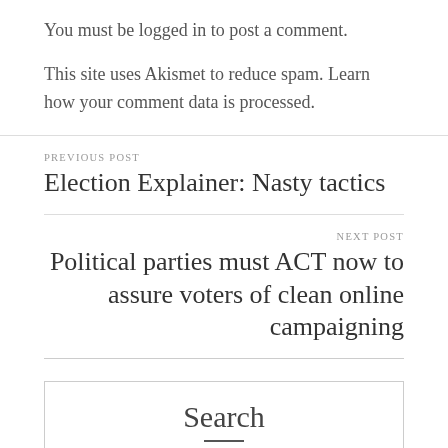You must be logged in to post a comment.
This site uses Akismet to reduce spam. Learn how your comment data is processed.
PREVIOUS POST
Election Explainer: Nasty tactics
NEXT POST
Political parties must ACT now to assure voters of clean online campaigning
Search